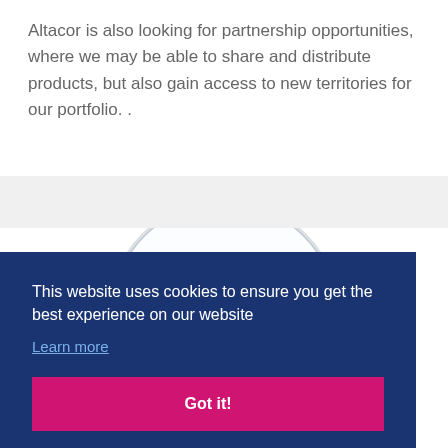Altacor is also looking for partnership opportunities, where we may be able to share and distribute products, but also gain access to new territories for our portfolio. .
[Figure (photo): A partially visible magnifying glass / glass globe on a stand, shown against a white background with a gray band.]
This website uses cookies to ensure you get the best experience on our website
Learn more
Got it!